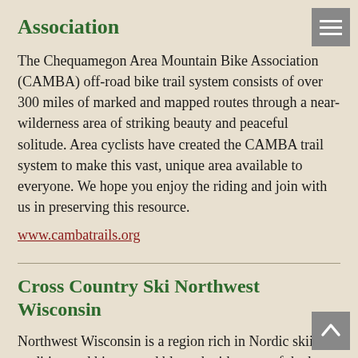Association
The Chequamegon Area Mountain Bike Association (CAMBA) off-road bike trail system consists of over 300 miles of marked and mapped routes through a near-wilderness area of striking beauty and peaceful solitude. Area cyclists have created the CAMBA trail system to make this vast, unique area available to everyone. We hope you enjoy the riding and join with us in preserving this resource.
www.cambatrails.org
Cross Country Ski Northwest Wisconsin
Northwest Wisconsin is a region rich in Nordic skiing tradition and history and blessed with some of the best cross country ski trails in the country. Not only